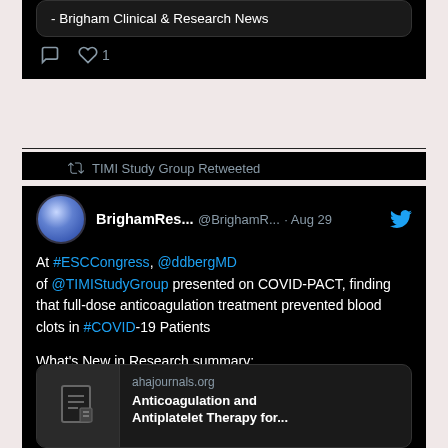- Brigham Clinical & Research News
TIMI Study Group Retweeted
BrighamRes... @BrighamR... · Aug 29
At #ESCCongress, @ddbergMD of @TIMIStudyGroup presented on COVID-PACT, finding that full-dose anticoagulation treatment prevented blood clots in #COVID-19 Patients

What's New in Research summary:
bwhclinicalandresearchnews.org/2022/08/19/wha…

@CircAHA paper:
ahajournals.org/doi/abs/10.116…
[Figure (screenshot): Link card showing ahajournals.org with document icon and title 'Anticoagulation and Antiplatelet Therapy for...']